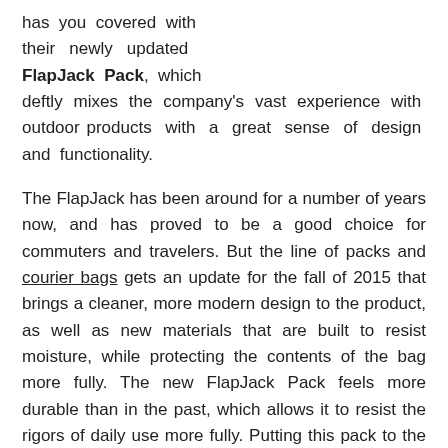has you covered with their newly updated FlapJack Pack, which deftly mixes the company's vast experience with outdoor products with a great sense of design and functionality.
The FlapJack has been around for a number of years now, and has proved to be a good choice for commuters and travelers. But the line of packs and courier bags gets an update for the fall of 2015 that brings a cleaner, more modern design to the product, as well as new materials that are built to resist moisture, while protecting the contents of the bag more fully. The new FlapJack Pack feels more durable than in the past, which allows it to resist the rigors of daily use more fully. Putting this pack to the test, I get the sense that it can easily stand up to the challenges it'll face with frequent use, which something I value as a frequent traveler.